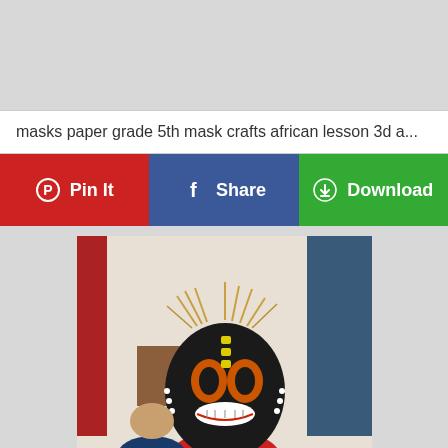masks paper grade 5th mask crafts african lesson 3d a...
Pin It
Share
Download
[Figure (photo): A student wearing a large handmade African-style mask in a classroom. The mask is black with orange and red designs and straw/raffia decorations. The student is wearing a red t-shirt. Other students are visible in the background.]